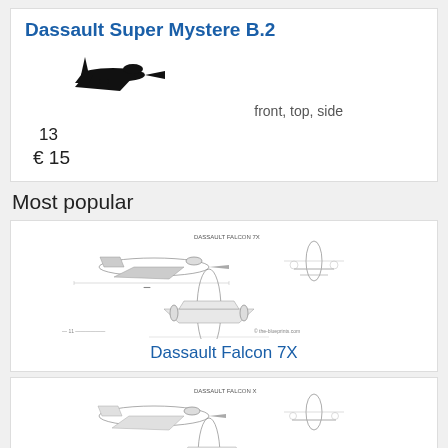Dassault Super Mystere B.2
[Figure (illustration): Side silhouette of a military jet aircraft (Dassault Super Mystere B.2) in black]
front, top, side
13
€ 15
Most popular
[Figure (illustration): Three-view engineering diagram of Dassault Falcon 7X showing front, top, and side views with dimension lines]
Dassault Falcon 7X
[Figure (illustration): Three-view engineering diagram of another Dassault aircraft showing front, top, and side views]